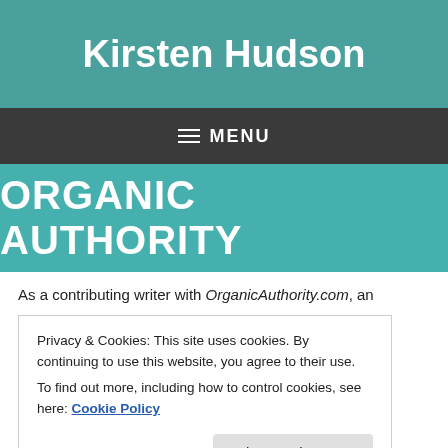Kirsten Hudson
≡ MENU
ORGANIC AUTHORITY
As a contributing writer with OrganicAuthority.com, an
Privacy & Cookies: This site uses cookies. By continuing to use this website, you agree to their use.
To find out more, including how to control cookies, see here: Cookie Policy
Close and accept
Pitch ideas